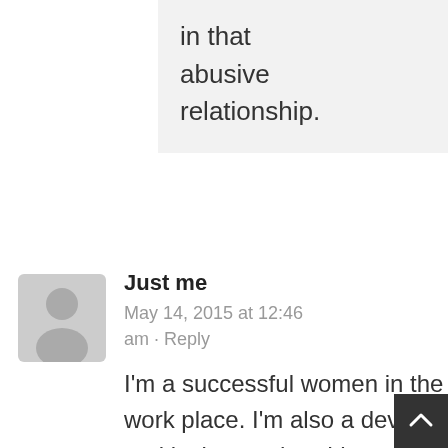in that abusive relationship.
[Figure (illustration): Generic user avatar placeholder icon (grey silhouette of a person on light grey background)]
Just me
May 14, 2015 at 12:46 am · Reply
I'm a successful women in the work place. I'm also a devoted and loving mother. I have found most sexual